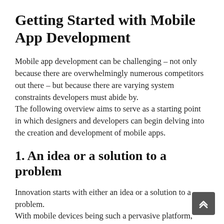Getting Started with Mobile App Development
Mobile app development can be challenging – not only because there are overwhelmingly numerous competitors out there – but because there are varying system constraints developers must abide by.
The following overview aims to serve as a starting point in which designers and developers can begin delving into the creation and development of mobile apps.
1. An idea or a solution to a problem
Innovation starts with either an idea or a solution to a problem.
With mobile devices being such a pervasive platform, everyone seems to have an idea for the